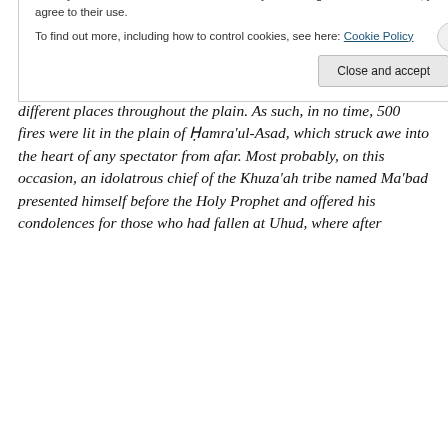executed them. The Holy Prophet instructed that a single grave be dug, and both of them were buried together. Now that it was evening time, the Holy Prophet instructed that camp be set up at this very location. He further instructed that fires be lit at different places throughout the plain. As such, in no time, 500 fires were lit in the plain of Ḥamra'ul-Asad, which struck awe into the heart of any spectator from afar. Most probably, on this occasion, an idolatrous chief of the Khuza'ah tribe named Ma'bad presented himself before the Holy Prophet and offered his condolences for those who had fallen at Uhud, where after
Privacy & Cookies: This site uses cookies. By continuing to use this website, you agree to their use.
To find out more, including how to control cookies, see here: Cookie Policy